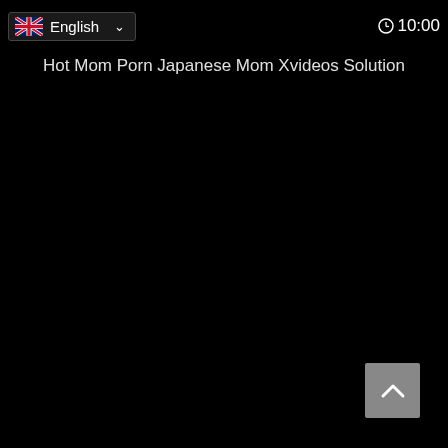English  10:00
Hot Mom Porn Japanese Mom Xvideos Solution
[Figure (screenshot): Dark/black webpage background with a faint dark image on the left edge and a back-to-top button in the bottom right corner]